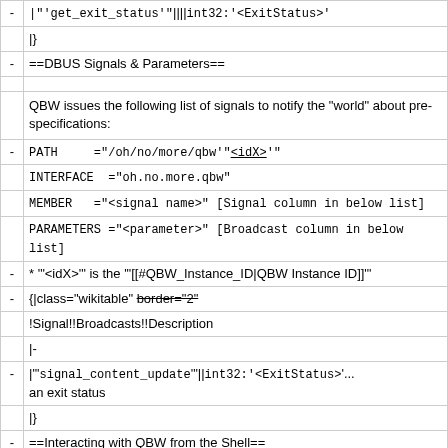| - | |"'<code>get_exit_status'"</code>||||<code>int32:'<ExitStatus>'</code>... |
|  | |}) |
| - | ==DBUS Signals & Parameters== |
|  | QBW issues the following list of signals to notify the "world" about pre- specifications: |
| - | PATH ="/oh/no/more/qbw'"<u><idX></u>"'" |
|  | INTERFACE ="oh.no.more.qbw" |
|  | MEMBER ="<signal name>" [Signal column in below list] |
|  | PARAMETERS ="<parameter>" [Broadcast column in below list] |
| - | * '"<idX>'" is the '"[[#QBW_Instance_ID|QBW Instance ID]]'" |
| - | {|class="wikitable" border="2" |
|  | !Signal!!Broadcasts!!Description |
|  | |- |
| - | |"'<code>signal_content_update</code>'"||<code>int32:'<ExitStatus>'</code>... an exit status |
|  | |} |
| - | ==Interacting with QBW from the Shell== |